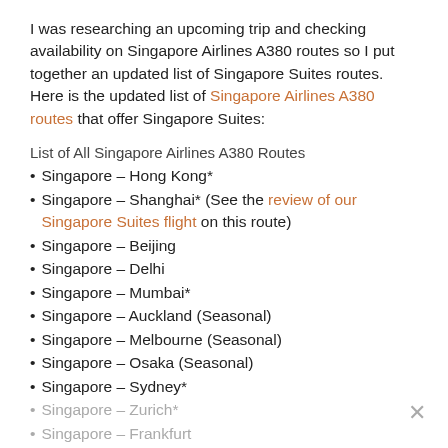I was researching an upcoming trip and checking availability on Singapore Airlines A380 routes so I put together an updated list of Singapore Suites routes. Here is the updated list of Singapore Airlines A380 routes that offer Singapore Suites:
List of All Singapore Airlines A380 Routes
Singapore – Hong Kong*
Singapore – Shanghai* (See the review of our Singapore Suites flight on this route)
Singapore – Beijing
Singapore – Delhi
Singapore – Mumbai*
Singapore – Auckland (Seasonal)
Singapore – Melbourne (Seasonal)
Singapore – Osaka (Seasonal)
Singapore – Sydney*
Singapore – Zurich*
Singapore – Frankfurt
Singapore – Barcelona (Seasonal)